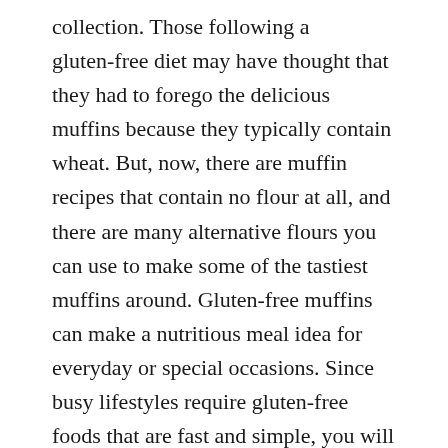collection. Those following a gluten-free diet may have thought that they had to forego the delicious muffins because they typically contain wheat. But, now, there are muffin recipes that contain no flour at all, and there are many alternative flours you can use to make some of the tastiest muffins around. Gluten-free muffins can make a nutritious meal idea for everyday or special occasions. Since busy lifestyles require gluten-free foods that are fast and simple, you will find many easy recipes included in this assortment of the best muffin ideas.
29. Gluten-free Blueberry Muffins with Almond Flour